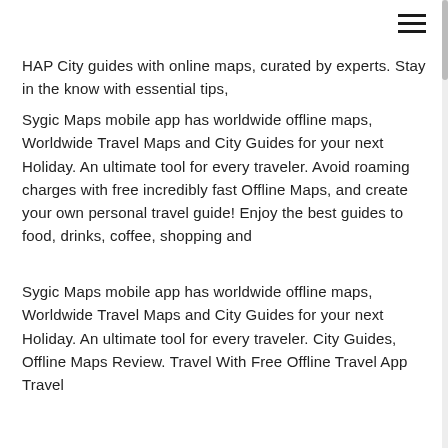HAP City guides with online maps, curated by experts. Stay in the know with essential tips,
Sygic Maps mobile app has worldwide offline maps, Worldwide Travel Maps and City Guides for your next Holiday. An ultimate tool for every traveler. Avoid roaming charges with free incredibly fast Offline Maps, and create your own personal travel guide! Enjoy the best guides to food, drinks, coffee, shopping and
Sygic Maps mobile app has worldwide offline maps, Worldwide Travel Maps and City Guides for your next Holiday. An ultimate tool for every traveler. City Guides, Offline Maps Review. Travel With Free Offline Travel App Travel